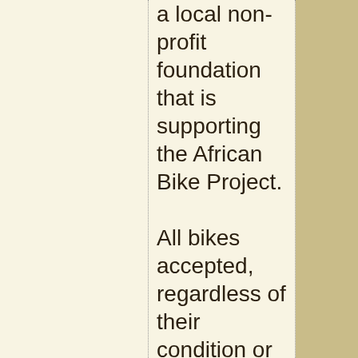a local non-profit foundation that is supporting the African Bike Project. All bikes accepted, regardless of their condition or size (no